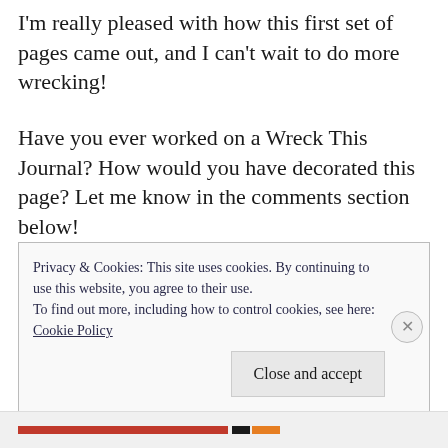I'm really pleased with how this first set of pages came out, and I can't wait to do more wrecking!
Have you ever worked on a Wreck This Journal? How would you have decorated this page? Let me know in the comments section below!
Yours,
HOLLY
Privacy & Cookies: This site uses cookies. By continuing to use this website, you agree to their use.
To find out more, including how to control cookies, see here:
Cookie Policy
Close and accept